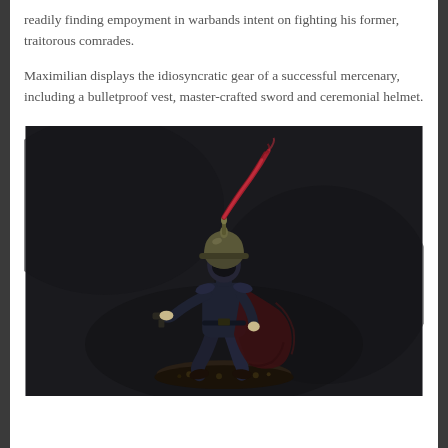readily finding empoyment in warbands intent on fighting his former, traitorous comrades.
Maximilian displays the idiosyncratic gear of a successful mercenary, including a bulletproof vest, master-crafted sword and ceremonial helmet.
[Figure (photo): A painted miniature figurine of a mercenary soldier wearing a dark uniform, ceremonial helmet with a red feathered plume, a cape, and holding a pistol. The figure is posed in a dynamic stance on a textured base, photographed against a dark background.]